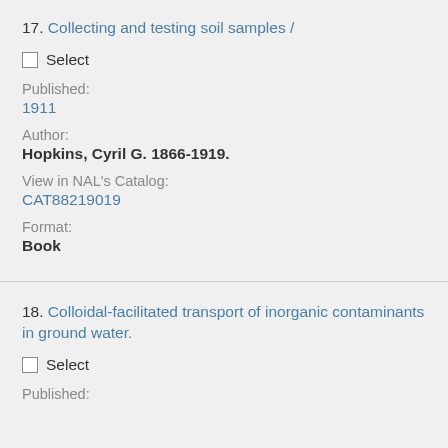17. Collecting and testing soil samples /
Select
Published:
1911
Author:
Hopkins, Cyril G. 1866-1919.
View in NAL's Catalog:
CAT88219019
Format:
Book
18. Colloidal-facilitated transport of inorganic contaminants in ground water.
Select
Published: